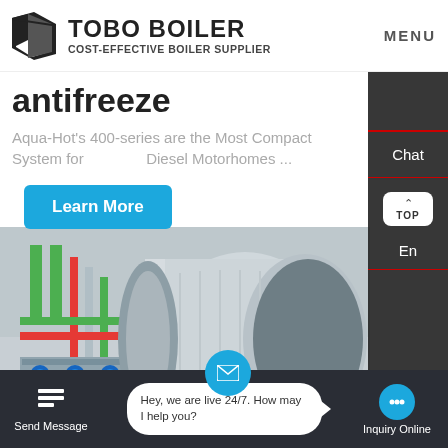[Figure (logo): TOBO BOILER logo with geometric black icon and tagline COST-EFFECTIVE BOILER SUPPLIER]
antifreeze
Aqua-Hot's 400-series are the Most Compact System for Diesel Motorhomes ...
[Figure (illustration): Learn More button (blue)]
[Figure (photo): Industrial boiler installation photo showing large cylindrical silver boiler tank with green and red piping]
Chat
En
Contact
Send Message
Hey, we are live 24/7. How may I help you?
Inquiry Online